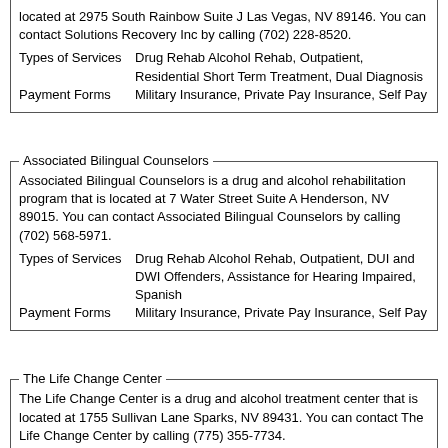located at 2975 South Rainbow Suite J Las Vegas, NV 89146. You can contact Solutions Recovery Inc by calling (702) 228-8520.
Types of Services: Drug Rehab Alcohol Rehab, Outpatient, Residential Short Term Treatment, Dual Diagnosis
Payment Forms: Military Insurance, Private Pay Insurance, Self Pay
Associated Bilingual Counselors
Associated Bilingual Counselors is a drug and alcohol rehabilitation program that is located at 7 Water Street Suite A Henderson, NV 89015. You can contact Associated Bilingual Counselors by calling (702) 568-5971.
Types of Services: Drug Rehab Alcohol Rehab, Outpatient, DUI and DWI Offenders, Assistance for Hearing Impaired, Spanish
Payment Forms: Military Insurance, Private Pay Insurance, Self Pay
The Life Change Center
The Life Change Center is a drug and alcohol treatment center that is located at 1755 Sullivan Lane Sparks, NV 89431. You can contact The Life Change Center by calling (775) 355-7734.
Types of Services: Drug Rehab Alcohol Rehab, Detox, Methadone Programs, Methadone Detox, Outpatient, Dual Diagnosis, DUI and DWI Offenders, Assistance for Hearing Impaired
Payment Forms: Medicaid, Medicare, Private Pay Insurance, Self Pay